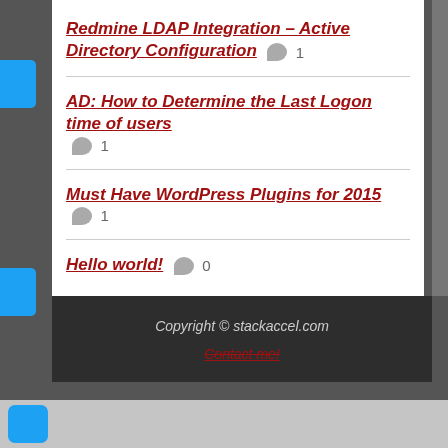Redmine LDAP Integration – Active Directory Configuration 💬 1
AD: How to Determine the Last Logon time of users 💬 1
Must Have WordPress Plugins for 2015 💬 1
Hello world! 💬 0
Copyright © stackaccel.com
Contact me!